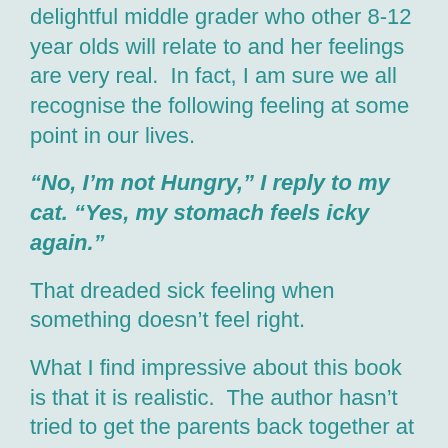delightful middle grader who other 8-12 year olds will relate to and her feelings are very real.  In fact, I am sure we all recognise the following feeling at some point in our lives.
“No, I’m not Hungry,” I reply to my cat. “Yes, my stomach feels icky again.”
That dreaded sick feeling when something doesn’t feel right.
What I find impressive about this book is that it is realistic.  The author hasn’t tried to get the parents back together at the end,